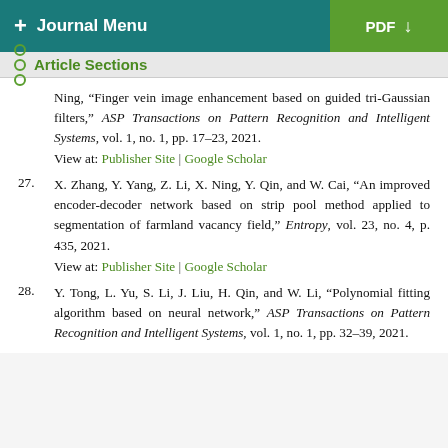+ Journal Menu | PDF ↓
Article Sections
Ning, "Finger vein image enhancement based on guided tri-Gaussian filters," ASP Transactions on Pattern Recognition and Intelligent Systems, vol. 1, no. 1, pp. 17–23, 2021.
View at: Publisher Site | Google Scholar
27. X. Zhang, Y. Yang, Z. Li, X. Ning, Y. Qin, and W. Cai, "An improved encoder-decoder network based on strip pool method applied to segmentation of farmland vacancy field," Entropy, vol. 23, no. 4, p. 435, 2021.
View at: Publisher Site | Google Scholar
28. Y. Tong, L. Yu, S. Li, J. Liu, H. Qin, and W. Li, "Polynomial fitting algorithm based on neural network," ASP Transactions on Pattern Recognition and Intelligent Systems, vol. 1, no. 1, pp. 32–39, 2021.